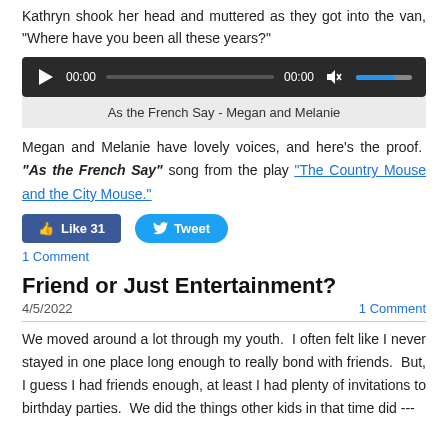Kathryn shook her head and muttered as they got into the van, "Where have you been all these years?"
[Figure (other): Audio player widget with play button, time display 00:00, progress bar, volume control showing blue fill]
As the French Say - Megan and Melanie
Megan and Melanie have lovely voices, and here's the proof. "As the French Say" song from the play "The Country Mouse and the City Mouse."
Like 31
Tweet
1 Comment
Friend or Just Entertainment?
4/5/2022    1 Comment
We moved around a lot through my youth.  I often felt like I never stayed in one place long enough to really bond with friends.  But, I guess I had friends enough, at least I had plenty of invitations to birthday parties.  We did the things other kids in that time did ---